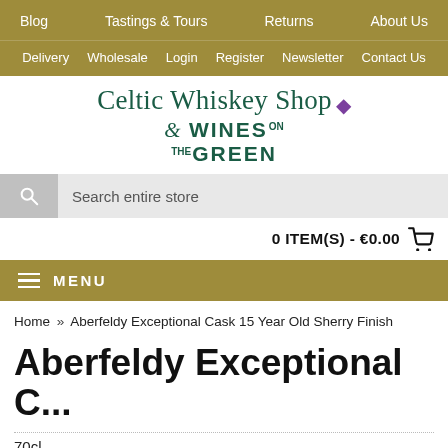Blog  Tastings & Tours  Returns  About Us
Delivery  Wholesale  Login  Register  Newsletter  Contact Us
[Figure (logo): Celtic Whiskey Shop & Wines on the Green logo with purple leaf/diamond icon]
Search entire store
0 ITEM(S) - €0.00
MENU
Home » Aberfeldy Exceptional Cask 15 Year Old Sherry Finish
Aberfeldy Exceptional C...
70cl